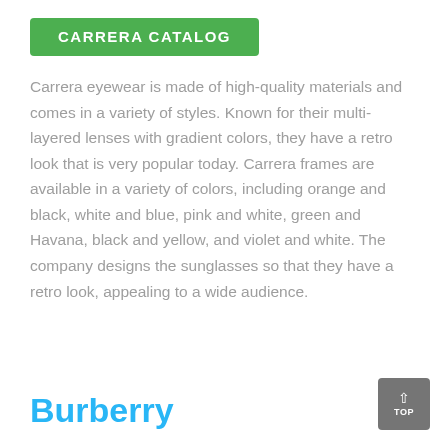CARRERA CATALOG
Carrera eyewear is made of high-quality materials and comes in a variety of styles. Known for their multi-layered lenses with gradient colors, they have a retro look that is very popular today. Carrera frames are available in a variety of colors, including orange and black, white and blue, pink and white, green and Havana, black and yellow, and violet and white. The company designs the sunglasses so that they have a retro look, appealing to a wide audience.
Burberry